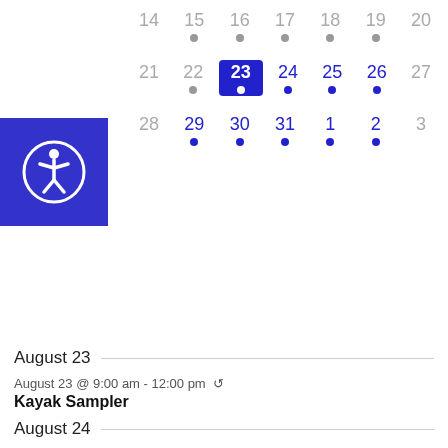[Figure (other): Calendar grid showing weeks with dates 14-20, 21-27 (23 highlighted as today in blue), and 28-31, 1-3. Many dates have dots indicating events.]
August 23
August 23 @ 9:00 am - 12:00 pm ↺
Kayak Sampler
August 24
August 24 @ 9:00 am - 12:00 pm ↺
Kayak Sampler
August 25
August 25 @ 9:00 am - 12:00 pm ↺
Kayak Sampler
August 26